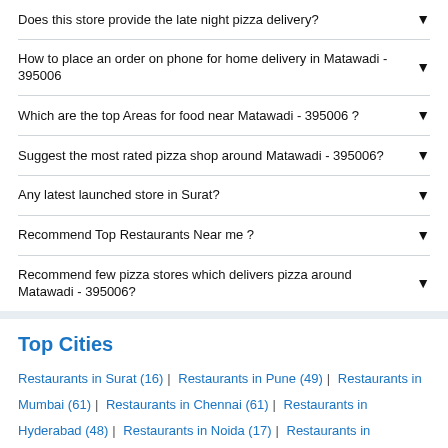Does this store provide the late night pizza delivery?
How to place an order on phone for home delivery in Matawadi - 395006
Which are the top Areas for food near Matawadi - 395006 ?
Suggest the most rated pizza shop around Matawadi - 395006?
Any latest launched store in Surat?
Recommend Top Restaurants Near me ?
Recommend few pizza stores which delivers pizza around Matawadi - 395006?
Top Cities
Restaurants in Surat (16) | Restaurants in Pune (49) | Restaurants in Mumbai (61) | Restaurants in Chennai (61) | Restaurants in Hyderabad (48) | Restaurants in Noida (17) | Restaurants in Faridabad (10) | Restaurants in New Delhi (88) | Restaurants in Guwahati (11) | Restaurants in Kolkata (38) | Restaurants in Bangalore (106) |